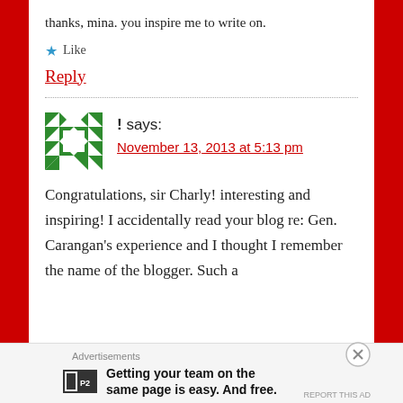thanks, mina. you inspire me to write on.
★ Like
Reply
! says:
November 13, 2013 at 5:13 pm
Congratulations, sir Charly! interesting and inspiring! I accidentally read your blog re: Gen. Carangan's experience and I thought I remember the name of the blogger. Such a
Advertisements
Getting your team on the same page is easy. And free.